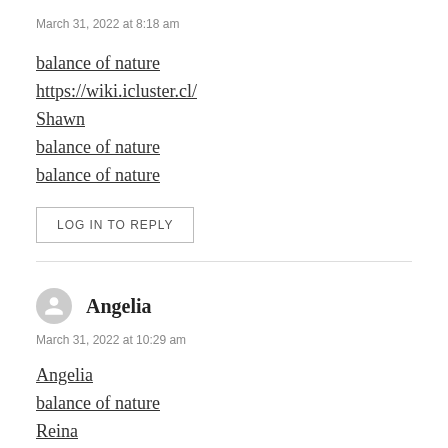March 31, 2022 at 8:18 am
balance of nature
https://wiki.icluster.cl/
Shawn
balance of nature
balance of nature
LOG IN TO REPLY
Angelia
March 31, 2022 at 10:29 am
Angelia
balance of nature
Reina
http://staff.yawatim.com
Reina